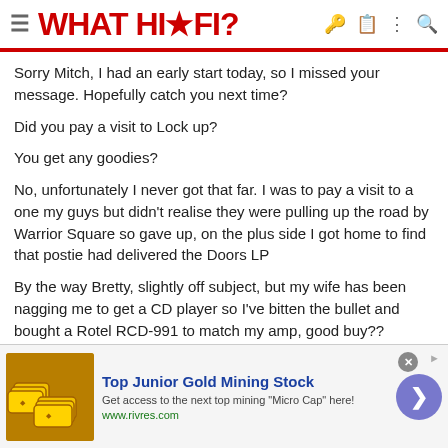WHAT HI-FI?
Sorry Mitch, I had an early start today, so I missed your message. Hopefully catch you next time?
Did you pay a visit to Lock up?
You get any goodies?
No, unfortunately I never got that far. I was to pay a visit to a one my guys but didn't realise they were pulling up the road by Warrior Square so gave up, on the plus side I got home to find that postie had delivered the Doors LP
By the way Bretty, slightly off subject, but my wife has been nagging me to get a CD player so I've bitten the bullet and bought a Rotel RCD-991 to match my amp, good buy??
[Figure (infographic): Advertisement banner for Top Junior Gold Mining Stock with gold bars image, text 'Get access to the next top mining "Micro Cap" here!' and URL www.rivres.com]